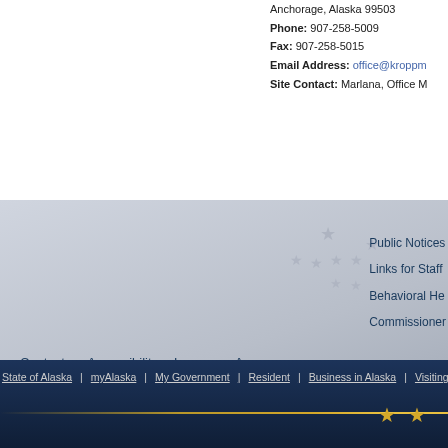Anchorage, Alaska 99503
Phone: 907-258-5009
Fax: 907-258-5015
Email Address: office@kroppm...
Site Contact: Marlana, Office M...
[Figure (illustration): Alaska state footer with stars decorative background image, navigation links, social media icons, and bottom navigation bar with State of Alaska links]
State of Alaska | myAlaska | My Government | Resident | Business in Alaska | Visiting Alaska